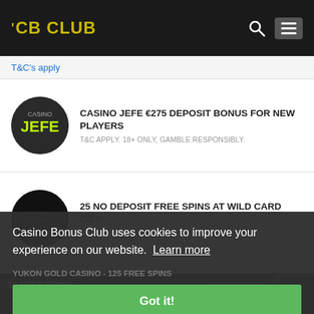CB CLUB
T&C's apply
CASINO JEFE €275 DEPOSIT BONUS FOR NEW PLAYERS
T&C APPLY. 18+ ONLY, GAMBLE RESPONSIBLY.
25 NO DEPOSIT FREE SPINS AT WILD CARD CITY
T&C APPLY. 18+ ONLY, GAMBLE RESPONSIBLY.
ZODIAC CASINO - 80 FREE SPINS
T&C APPLY. 18+ ONLY, GAMBLE RESPONSIBLY.
YUKON GOLD CASINO - 125 FREE SPINS
T&C APPLY. 18+ ONLY, GAMBLE RESPONSIBLY.
Casino Bonus Club uses cookies to improve your experience on our website. Learn more
Got it!
30 FREE SPINS + 300% Deposit Match + many more exciting offers
Claim Now